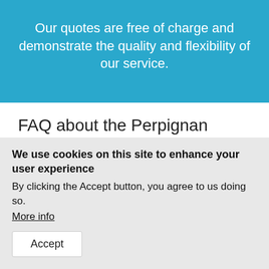Our quotes are free of charge and demonstrate the quality and flexibility of our service.
FAQ about the Perpignan agency
What languages does Alphatrad Perpignan translate into?
We use cookies on this site to enhance your user experience
By clicking the Accept button, you agree to us doing so.
More info
Accept